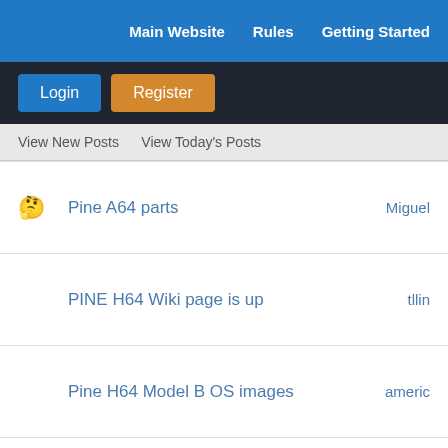Main Website   Rules   Getting Started
Login
Register
View New Posts   View Today's Posts
Pine A64 parts   Miguel
PINE H64 Wiki page is up   tllin
Pine H64 Model B OS images   americ
PINE H64 u-boot and kernel   shinym
View a Printable Version
Users browsing this thread: 2 Guest(s)